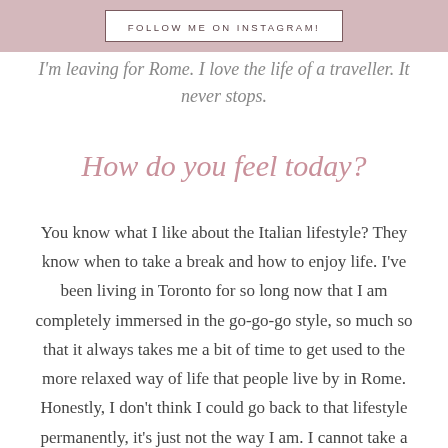FOLLOW ME ON INSTAGRAM!
I'm leaving for Rome. I love the life of a traveller. It never stops.
How do you feel today?
You know what I like about the Italian lifestyle? They know when to take a break and how to enjoy life. I've been living in Toronto for so long now that I am completely immersed in the go-go-go style, so much so that it always takes me a bit of time to get used to the more relaxed way of life that people live by in Rome. Honestly, I don't think I could go back to that lifestyle permanently, it's just not the way I am. I cannot take a break until I know that all